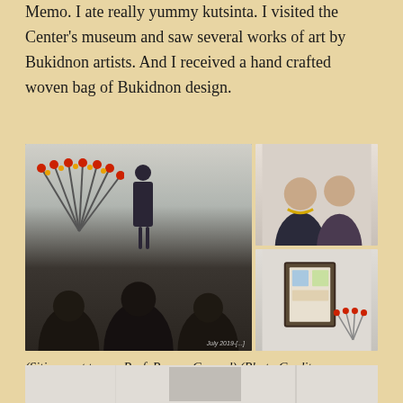Memo. I ate really yummy kutsinta. I visited the Center's museum and saw several works of art by Bukidnon artists. And I received a hand crafted woven bag of Bukidnon design.
[Figure (photo): Photo collage of an event: left photo shows a presenter speaking at a podium with a Bukidnon decorative fan in the background and audience members seated in foreground; top right photo shows two women seated and smiling; bottom right photo shows a framed artwork display with a Bukidnon fan decoration. Watermark reads 'July 2019-[?]'.]
(Siting next to me, Prof. Ramos-Consad) (Photo Credit: Christopher Cordova of Angelsweddingshoppe.com)
[Figure (photo): Partial view of another photo at the bottom of the page showing an interior room scene.]